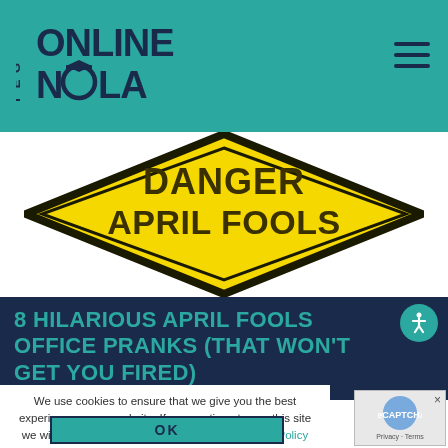GET ONLINE NOLA
[Figure (illustration): Yellow diamond-shaped danger/warning sign with text 'DANGER APRIL FOOLS' in dark brown/olive bold letters on yellow background with black border]
8 HILARIOUS APRIL FOOLS OFFICE PRANKS (THAT WON'T GET YOU FIRED)
We use cookies to ensure that we give you the best experience on our website. If you continue to use this site we will assume that you are happy with it. Privacy Policy
OK